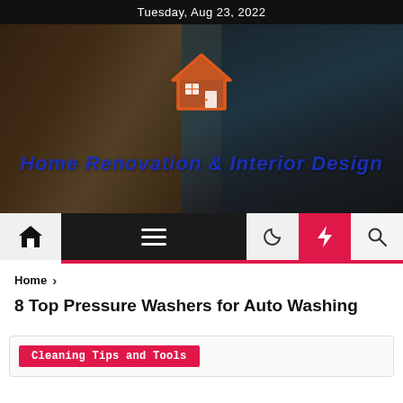Tuesday, Aug 23, 2022
[Figure (photo): Hero banner image of a luxury home interior with ocean view, overlaid with a house logo icon and site title 'Home Renovation & Interior Design']
Home Renovation & Interior Design
Home > 8 Top Pressure Washers for Auto Washing
8 Top Pressure Washers for Auto Washing
Cleaning Tips and Tools